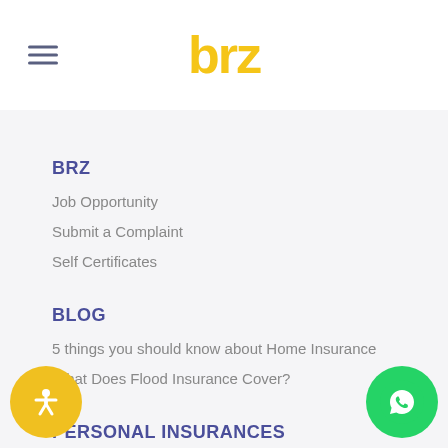[Figure (logo): BRZ insurance company logo — stylized lowercase 'brz' in yellow/gold color]
BRZ
Job Opportunity
Submit a Complaint
Self Certificates
BLOG
5 things you should know about Home Insurance
What Does Flood Insurance Cover?
PERSONAL INSURANCES
Insurance
Umbrella Insurance